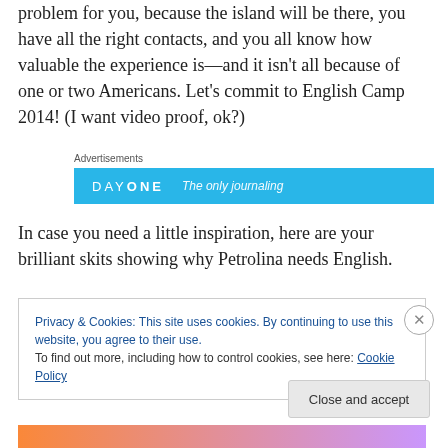problem for you, because the island will be there, you have all the right contacts, and you all know how valuable the experience is—and it isn't all because of one or two Americans. Let's commit to English Camp 2014! (I want video proof, ok?)
Advertisements
[Figure (screenshot): Day One app advertisement banner in blue, showing 'DAY ONE' logo and text 'The only journaling...']
In case you need a little inspiration, here are your brilliant skits showing why Petrolina needs English.
Privacy & Cookies: This site uses cookies. By continuing to use this website, you agree to their use.
To find out more, including how to control cookies, see here: Cookie Policy
Close and accept